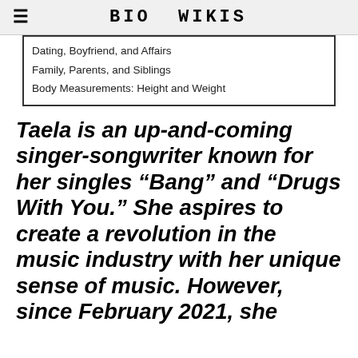BIO WIKIS
Dating, Boyfriend, and Affairs
Family, Parents, and Siblings
Body Measurements: Height and Weight
Taela is an up-and-coming singer-songwriter known for her singles “Bang” and “Drugs With You.” She aspires to create a revolution in the music industry with her unique sense of music. However, since February 2021, she